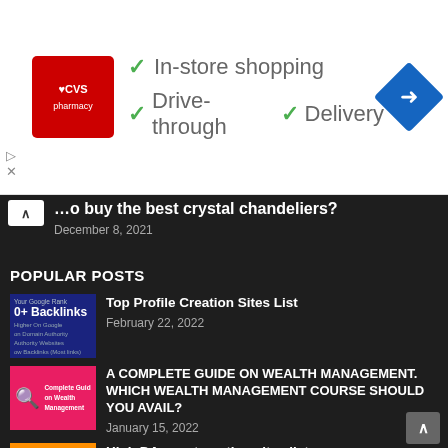[Figure (infographic): CVS Pharmacy advertisement banner showing logo with checkmarks for In-store shopping, Drive-through, and Delivery services, plus a navigation/map icon]
...o buy the best crystal chandeliers?
December 8, 2021
POPULAR POSTS
[Figure (photo): Thumbnail for Top Profile Creation Sites List showing backlinks text on dark blue background]
Top Profile Creation Sites List
February 22, 2022
[Figure (photo): Thumbnail for wealth management guide showing magnifying glass on pink/red background]
A COMPLETE GUIDE ON WEALTH MANAGEMENT. WHICH WEALTH MANAGEMENT COURSE SHOULD YOU AVAIL?
January 15, 2022
[Figure (photo): Thumbnail for High DA guest posting sites list showing person on phone with orange background]
High DA guest posting sites list
November 15, 2021